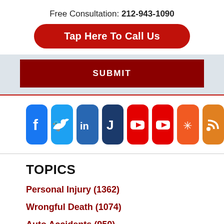Free Consultation: 212-943-1090
Tap Here To Call Us
SUBMIT
[Figure (infographic): Row of 8 social media icons: Facebook, Twitter, LinkedIn, Justia, YouTube (x2), Yelp, RSS feed]
TOPICS
Personal Injury (1362)
Wrongful Death (1074)
Auto Accidents (950)